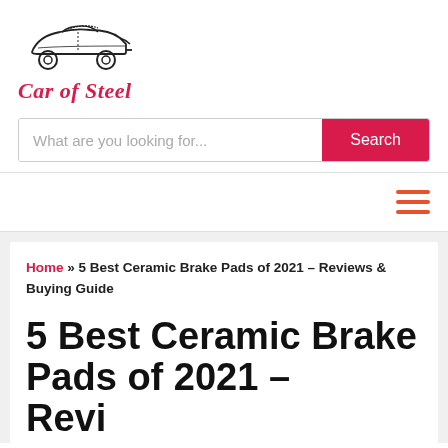[Figure (logo): Car of Steel website logo with a sports car illustration above the text 'Car of Steel']
What are you looking for...
Search
≡ (hamburger menu icon)
Home » 5 Best Ceramic Brake Pads of 2021 – Reviews & Buying Guide
5 Best Ceramic Brake Pads of 2021 – Reviews & Buying Guide